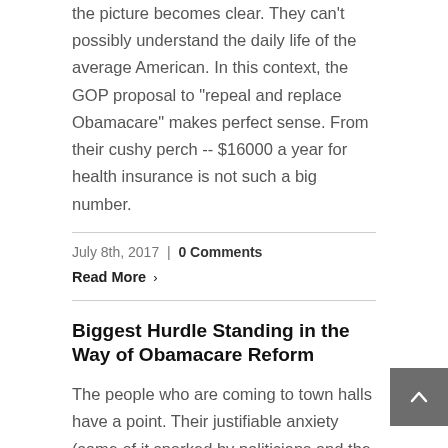the picture becomes clear. They can't possibly understand the daily life of the average American. In this context, the GOP proposal to "repeal and replace Obamacare" makes perfect sense. From their cushy perch -- $16000 a year for health insurance is not such a big number.
July 8th, 2017  |  0 Comments
Read More ›
Biggest Hurdle Standing in the Way of Obamacare Reform
The people who are coming to town halls have a point. Their justifiable anxiety (some of it sparked by politicians and the news media) stands in the way of a down-payment on reforming Obamacare in short run and